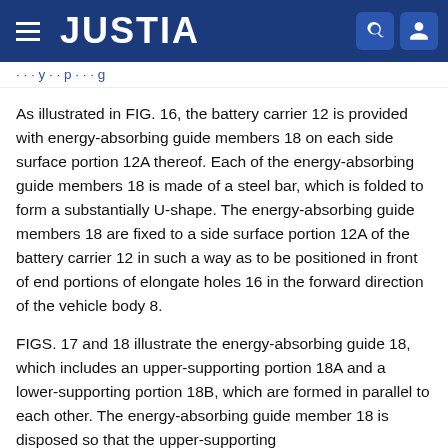JUSTIA
As illustrated in FIG. 16, the battery carrier 12 is provided with energy-absorbing guide members 18 on each side surface portion 12A thereof. Each of the energy-absorbing guide members 18 is made of a steel bar, which is folded to form a substantially U-shape. The energy-absorbing guide members 18 are fixed to a side surface portion 12A of the battery carrier 12 in such a way as to be positioned in front of end portions of elongate holes 16 in the forward direction of the vehicle body 8.
FIGS. 17 and 18 illustrate the energy-absorbing guide 18, which includes an upper-supporting portion 18A and a lower-supporting portion 18B, which are formed in parallel to each other. The energy-absorbing guide member 18 is disposed so that the upper-supporting